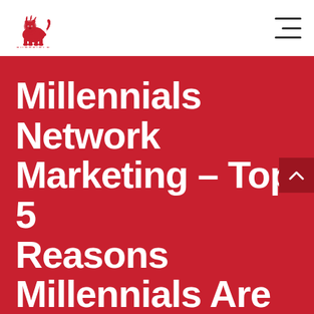[Figure (logo): Sheffield lion logo in red with text SHEFFIELD below]
Millennials Network Marketing – Top 5 Reasons Millennials Are Most Successful